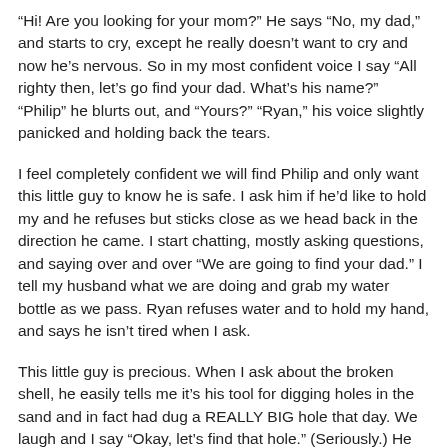"Hi! Are you looking for your mom?" He says "No, my dad," and starts to cry, except he really doesn't want to cry and now he's nervous. So in my most confident voice I say "All righty then, let's go find your dad. What's his name?" "Philip" he blurts out, and "Yours?" "Ryan," his voice slightly panicked and holding back the tears.
I feel completely confident we will find Philip and only want this little guy to know he is safe. I ask him if he'd like to hold my and he refuses but sticks close as we head back in the direction he came. I start chatting, mostly asking questions, and saying over and over "We are going to find your dad." I tell my husband what we are doing and grab my water bottle as we pass. Ryan refuses water and to hold my hand, and says he isn't tired when I ask.
This little guy is precious. When I ask about the broken shell, he easily tells me it's his tool for digging holes in the sand and in fact had dug a REALLY BIG hole that day. We laugh and I say "Okay, let's find that hole." (Seriously.) He tells me about the waves that had toppled him over and how much fun that was, and as I scan the people on their blankets and